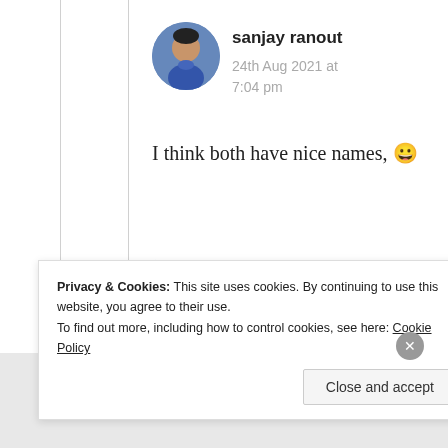[Figure (photo): Profile avatar of sanjay ranout — circular photo of a young man in blue shirt]
sanjay ranout
24th Aug 2021 at 7:04 pm
I think both have nice names, 😀
★ Liked by 3 people
Privacy & Cookies: This site uses cookies. By continuing to use this website, you agree to their use.
To find out more, including how to control cookies, see here: Cookie Policy
Close and accept